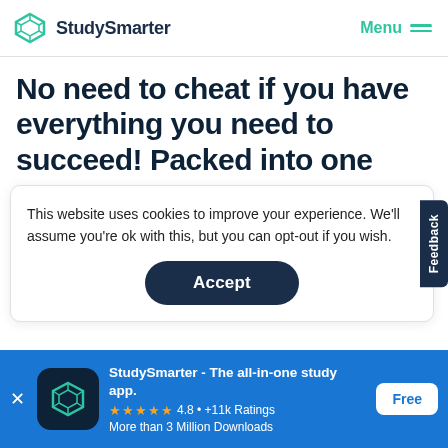StudySmarter  Menu
No need to cheat if you have everything you need to succeed! Packed into one app!
This website uses cookies to improve your experience. We'll assume you're ok with this, but you can opt-out if you wish.
Accept
Be perfectly prepared on time with an
StudySmarter - The all-in-one study app.
★★★★★ 4.8 • +11k Ratings
More than 3 Million Downloads
Free